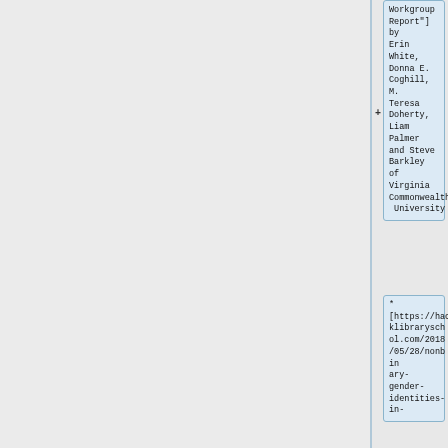Workgroup Report"] by Erin White, Donna E. Coghill, M. Teresa Doherty, Liam Palmer and Steve Barkley of Virginia Commonwealth University
* [https://hacklibraryschool.com/2018/05/28/nonbinary-gender-identities-in-